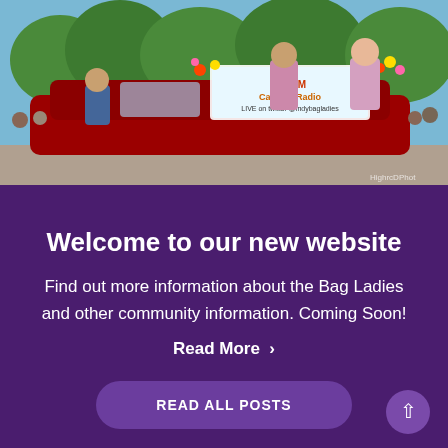[Figure (photo): A parade scene showing people riding in a decorated red convertible car with colorful flowers, holding a sign that reads 'WKRM Cadillac Radio LIVE on twitter @indybagladies'. Crowd and trees visible in background on a sunny day.]
Welcome to our new website
Find out more information about the Bag Ladies and other community information. Coming Soon!
Read More ›
READ ALL POSTS